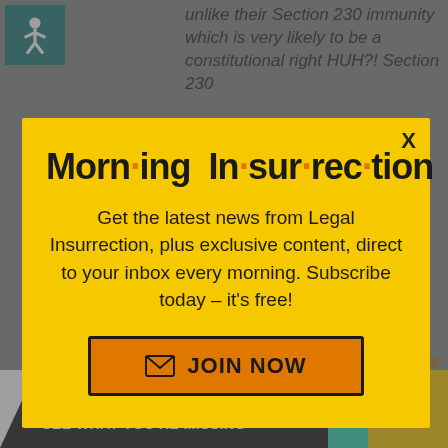unlike their Section 230 immunity which is very likely to be a constitutional right HUH?! Section 230
[Figure (infographic): Yellow modal popup for Morning Insurrection newsletter subscription with close button, title, description text, and orange JOIN NOW button]
[Figure (infographic): Bottom ad banner for The Perspective with SEE WHAT YOU'RE MISSING text and READ MORE button]